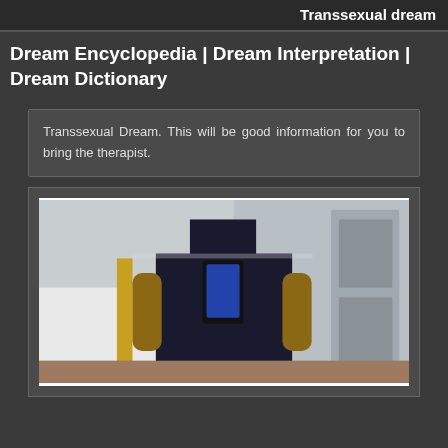Transsexual dream
Dream Encyclopedia | Dream Interpretation | Dream Dictionary
Transsexual Dream. This will be good information for you to bring the therapist.
[Figure (photo): A person taking a mirror selfie in what appears to be a gym or locker room, wearing a dark sleeveless top, photographing themselves with a phone.]